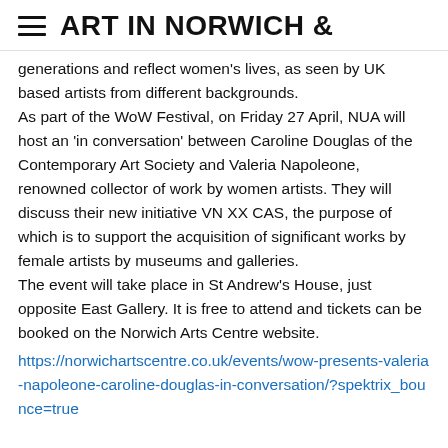ART IN NORWICH &
generations and reflect women's lives, as seen by UK based artists from different backgrounds.
As part of the WoW Festival, on Friday 27 April, NUA will host an 'in conversation' between Caroline Douglas of the Contemporary Art Society and Valeria Napoleone, renowned collector of work by women artists. They will discuss their new initiative VN XX CAS, the purpose of which is to support the acquisition of significant works by female artists by museums and galleries.
The event will take place in St Andrew's House, just opposite East Gallery. It is free to attend and tickets can be booked on the Norwich Arts Centre website.
https://norwichartscentre.co.uk/events/wow-presents-valeria-napoleone-caroline-douglas-in-conversation/?spektrix_bounce=true